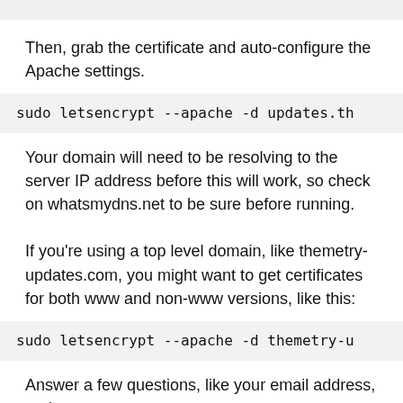Then, grab the certificate and auto-configure the Apache settings.
sudo letsencrypt --apache -d updates.th
Your domain will need to be resolving to the server IP address before this will work, so check on whatsmydns.net to be sure before running.
If you're using a top level domain, like themetry-updates.com, you might want to get certificates for both www and non-www versions, like this:
sudo letsencrypt --apache -d themetry-u
Answer a few questions, like your email address, and